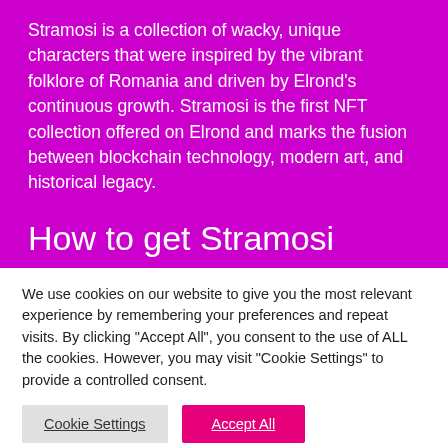Stramosi is a collection of wacky, unique characters that were inspired by the vibrant folklore of Romania and driven by Elrond's continuous growth. Stramosi is the first NFT collection offered on Elrond and marks the fusion between blockchain technology, modern art, and historical legacy.
How to get Stramosi
We use cookies on our website to give you the most relevant experience by remembering your preferences and repeat visits. By clicking "Accept All", you consent to the use of ALL the cookies. However, you may visit "Cookie Settings" to provide a controlled consent.